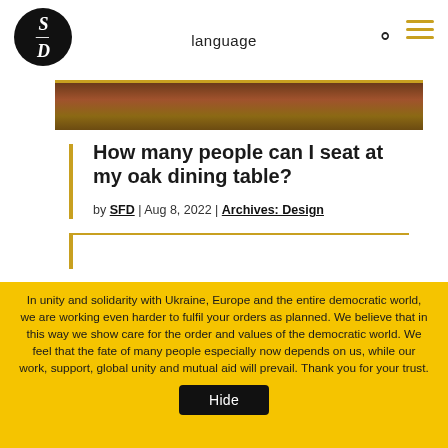language
[Figure (logo): SfD circular logo, white italic text on black background]
[Figure (photo): Partial photo of dining table/chairs, dark warm tones]
How many people can I seat at my oak dining table?
by SFD | Aug 8, 2022 | Archives: Design
In unity and solidarity with Ukraine, Europe and the entire democratic world, we are working even harder to fulfil your orders as planned. We believe that in this way we show care for the order and values of the democratic world. We feel that the fate of many people especially now depends on us, while our work, support, global unity and mutual aid will prevail. Thank you for your trust.
Hide